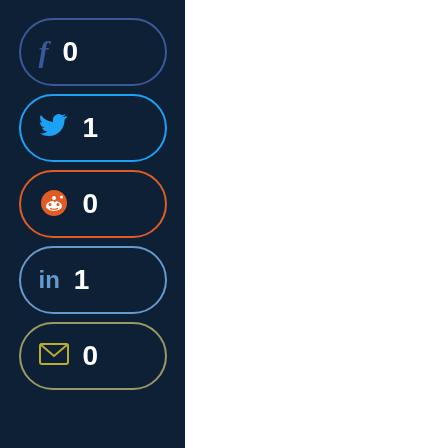[Figure (other): Social media share sidebar with Facebook (0), Twitter (1), Reddit (0), LinkedIn (1), Email (0) buttons on a dark navy background]
TECHNICAL SUMMARY:
A vulnerability has been discovered in WebKitGTK and WPE WebKit which could allow for arbitrary code execution. This vulnerability occurs when processing specially crafted web content due to a use after free error in the 'AudioSourceProviderGStreamer' class.